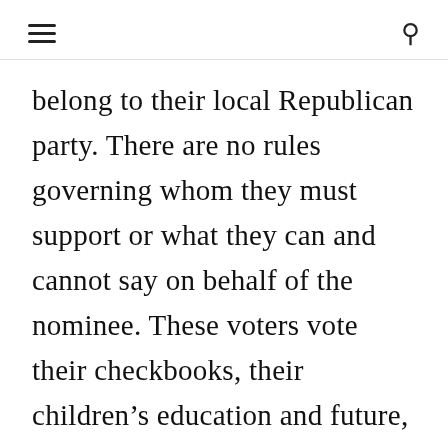[hamburger menu] [search icon]
belong to their local Republican party. There are no rules governing whom they must support or what they can and cannot say on behalf of the nominee. These voters vote their checkbooks, their children's education and future, their liberty and security. They aren't looking to the Republican Party, to members of the Republican Party or to bloggers to determine how they are going to vote. Many of